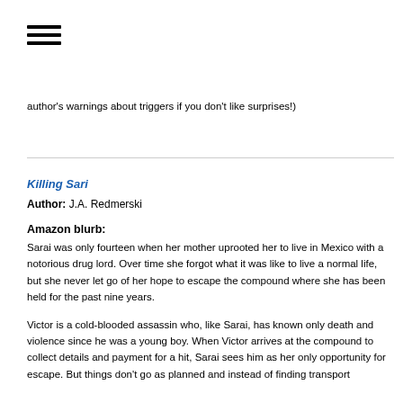[Figure (other): Hamburger menu icon (three horizontal lines)]
author's warnings about triggers if you don't like surprises!)
Killing Sari
Author: J.A. Redmerski
Amazon blurb:
Sarai was only fourteen when her mother uprooted her to live in Mexico with a notorious drug lord. Over time she forgot what it was like to live a normal life, but she never let go of her hope to escape the compound where she has been held for the past nine years.
Victor is a cold-blooded assassin who, like Sarai, has known only death and violence since he was a young boy. When Victor arrives at the compound to collect details and payment for a hit, Sarai sees him as her only opportunity for escape. But things don't go as planned and instead of finding transport